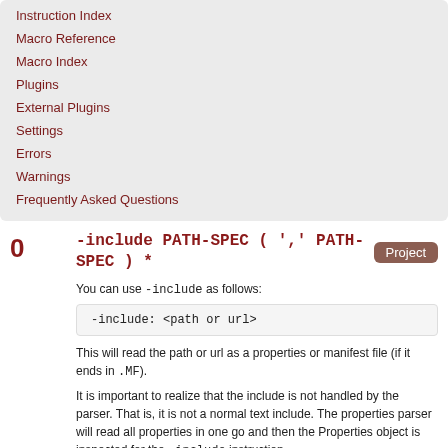Instruction Index
Macro Reference
Macro Index
Plugins
External Plugins
Settings
Errors
Warnings
Frequently Asked Questions
-include PATH-SPEC ( ',' PATH-SPEC ) *
You can use -include as follows:
This will read the path or url as a properties or manifest file (if it ends in .MF).
It is important to realize that the include is not handled by the parser. That is, it is not a normal text include. The properties parser will read all properties in one go and then the Properties object is inspected for the -include instruction.